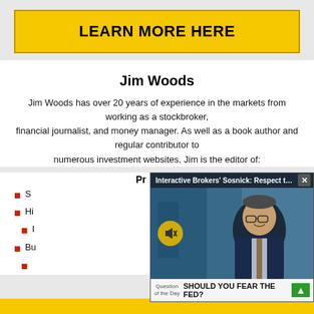[Figure (other): Yellow button with text LEARN MORE HERE]
Jim Woods
Jim Woods has over 20 years of experience in the markets from working as a stockbroker, financial journalist, and money manager. As well as a book author and regular contributor to numerous investment websites, Jim is the editor of:
Pr...
S...
Hi...
I...
Bu...
...
[Figure (screenshot): Video overlay popup: Interactive Brokers' Sosnick: Respect th... with close button X, video thumbnail showing man in suit, mute button, and footer reading 'Question of the Day SHOULD YOU FEAR THE FED?' with green arrow]